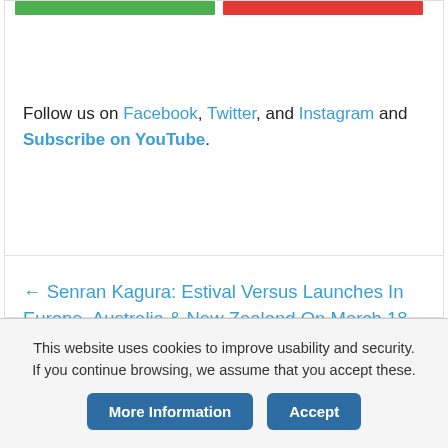[Figure (other): Two colored horizontal bars — one green and one red — at the top of a card]
Follow us on Facebook, Twitter, and Instagram and Subscribe on YouTube.
← Senran Kagura: Estival Versus Launches In Europe, Australia & New Zealand On March 18
This website uses cookies to improve usability and security. If you continue browsing, we assume that you accept these.